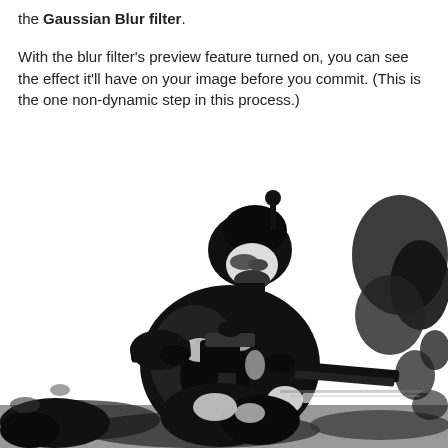the Gaussian Blur filter.
With the blur filter's preview feature turned on, you can see the effect it'll have on your image before you commit. (This is the one non-dynamic step in this process.)
[Figure (photo): High-contrast black and white image of a soldier in combat gear holding a rifle, with foliage visible in the background. The image appears to have been processed with a threshold/posterize effect giving it a stencil-like appearance.]